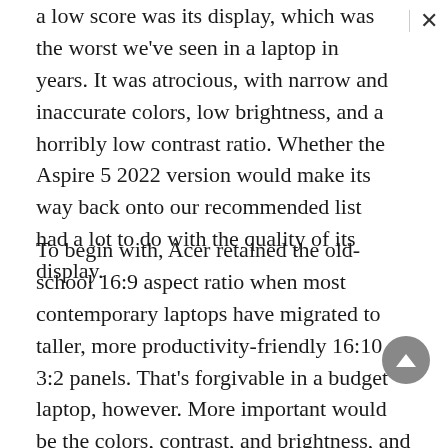a low score was its display, which was the worst we've seen in a laptop in years. It was atrocious, with narrow and inaccurate colors, low brightness, and a horribly low contrast ratio. Whether the Aspire 5 2022 version would make its way back onto our recommended list had a lot to do with the quality of its display.
To begin with, Acer retained the old-school 16:9 aspect ratio when most contemporary laptops have migrated to taller, more productivity-friendly 16:10 or 3:2 panels. That's forgivable in a budget laptop, however. More important would be the colors, contrast, and brightness, and out of the box, I was